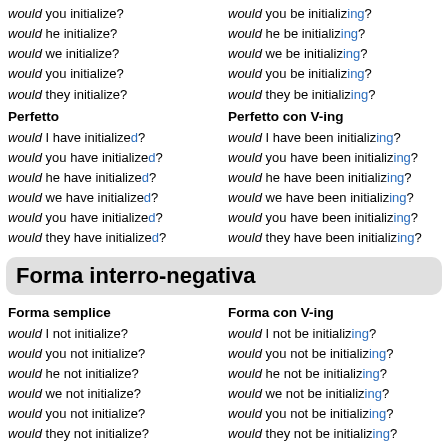would you initialize?
would he initialize?
would we initialize?
would you initialize?
would they initialize?
would you be initializing?
would he be initializing?
would we be initializing?
would you be initializing?
would they be initializing?
Perfetto
Perfetto con V-ing
would I have initialized?
would you have initialized?
would he have initialized?
would we have initialized?
would you have initialized?
would they have initialized?
would I have been initializing?
would you have been initializing?
would he have been initializing?
would we have been initializing?
would you have been initializing?
would they have been initializing?
Forma interro-negativa
Forma semplice
Forma con V-ing
would I not initialize?
would you not initialize?
would he not initialize?
would we not initialize?
would you not initialize?
would they not initialize?
would I not be initializing?
would you not be initializing?
would he not be initializing?
would we not be initializing?
would you not be initializing?
would they not be initializing?
Perfetto
Perfetto con V-ing
would I not have initialized?
would you not have initialized?
would I not have been initializing?
would you not have been